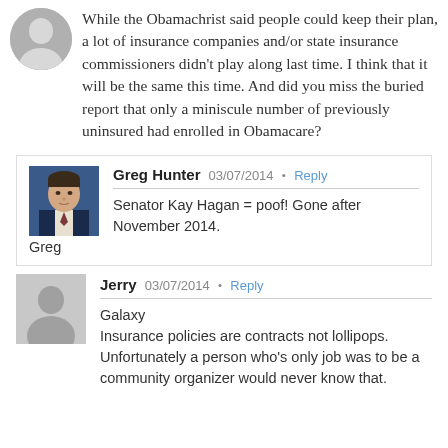While the Obamachrist said people could keep their plan, a lot of insurance companies and/or state insurance commissioners didn't play along last time. I think that it will be the same this time. And did you miss the buried report that only a miniscule number of previously uninsured had enrolled in Obamacare?
Greg Hunter   03/07/2014  •  Reply
Senator Kay Hagan = poof! Gone after November 2014.
Greg
Jerry   03/07/2014  •  Reply
Galaxy
Insurance policies are contracts not lollipops. Unfortunately a person who's only job was to be a community organizer would never know that.